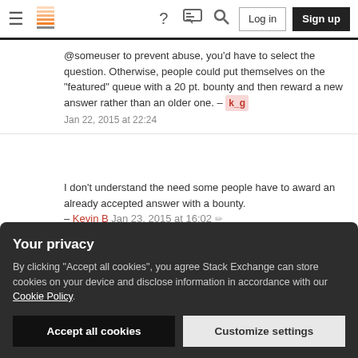Stack Exchange navigation bar with hamburger menu, logo, help, chat, search icons, Log in and Sign up buttons
@someuser to prevent abuse, you'd have to select the question. Otherwise, people could put themselves on the "featured" queue with a 20 pt. bounty and then reward a new answer rather than an older one. – k_g Jan 22, 2015 at 22:24
I don't understand the need some people have to award an already accepted answer with a bounty. – Kevin B Jan 23, 2015 at 16:02
3  So you want sockpuppets to get to a voting reputation level immediately, without the community supervision that bounties currently enjoy? Because that'll be what this is going to be used for; transferring rep surreptitiously between fraudulent accounts.
Your privacy
By clicking "Accept all cookies", you agree Stack Exchange can store cookies on your device and disclose information in accordance with our Cookie Policy.
Accept all cookies   Customize settings
receive. 2. Being known as someone generous with bounties can help your future questions attract outr...